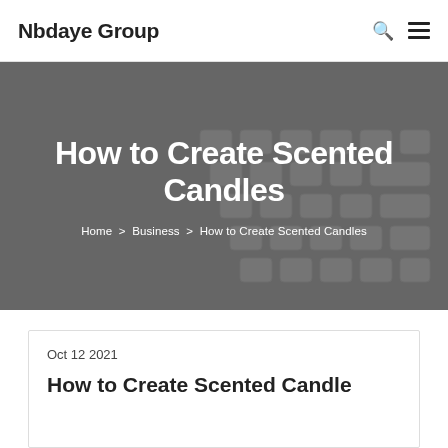Nbdaye Group
How to Create Scented Candles
Home > Business > How to Create Scented Candles
Oct 12 2021
How to Create Scented Candles